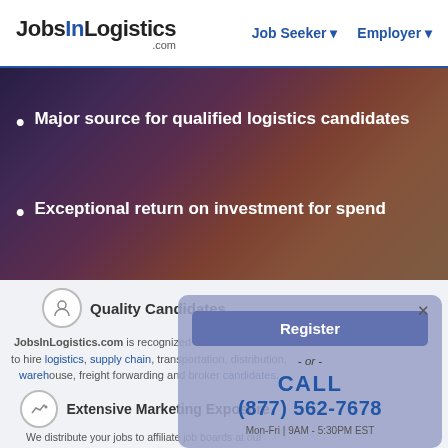JobsInLogistics.com — Job Seeker ▾  Employer ▾
Major source for qualified logistics candidates
Exceptional return on investment for spend
Quality Candidates
JobsInLogistics.com is recognized as the best source to hire logistics, supply chain, transportation, distribution, warehouse, freight forwarding and broker candidates.
Extensive Marketing Exposure
We distribute your jobs to affiliate job boards at our expense including: TopUSAJobs, ZipRecruiter, Talroo, MyJobHelper, Adzuma and
Register
- or -
CALL
(877) 562-7678
Mon-Fri | 9AM - 5:30PM EST